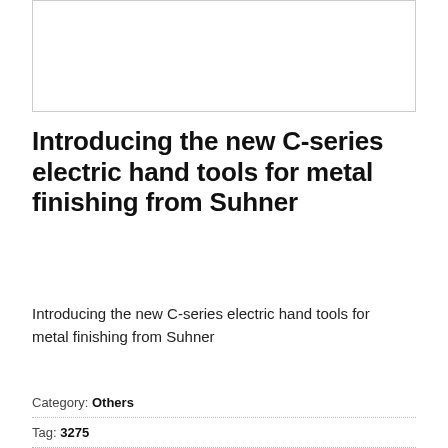[Figure (other): Image placeholder / product photo area (blank white box with border)]
Introducing the new C-series electric hand tools for metal finishing from Suhner
Introducing the new C-series electric hand tools for metal finishing from Suhner
Category: Others
Tag: 3275